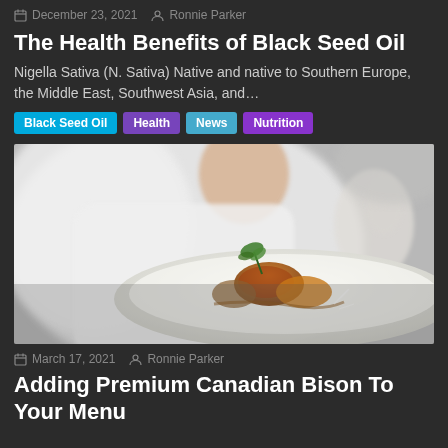December 23, 2021  Ronnie Parker
The Health Benefits of Black Seed Oil
Nigella Sativa (N. Sativa) Native and native to Southern Europe, the Middle East, Southwest Asia, and…
Black Seed Oil
Health
News
Nutrition
[Figure (photo): A chef in white uniform plating a gourmet dish with meat and garnish on a white plate]
March 17, 2021  Ronnie Parker
Adding Premium Canadian Bison To Your Menu